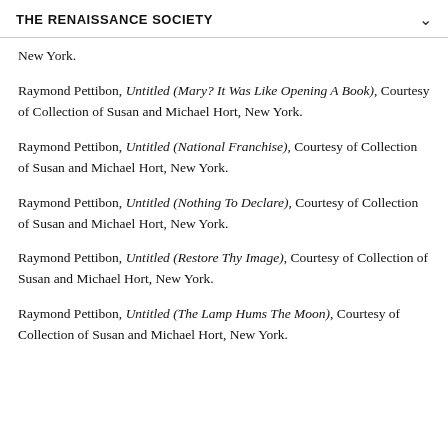THE RENAISSANCE SOCIETY
New York.
Raymond Pettibon, Untitled (Mary? It Was Like Opening A Book), Courtesy of Collection of Susan and Michael Hort, New York.
Raymond Pettibon, Untitled (National Franchise), Courtesy of Collection of Susan and Michael Hort, New York.
Raymond Pettibon, Untitled (Nothing To Declare), Courtesy of Collection of Susan and Michael Hort, New York.
Raymond Pettibon, Untitled (Restore Thy Image), Courtesy of Collection of Susan and Michael Hort, New York.
Raymond Pettibon, Untitled (The Lamp Hums The Moon), Courtesy of Collection of Susan and Michael Hort, New York.